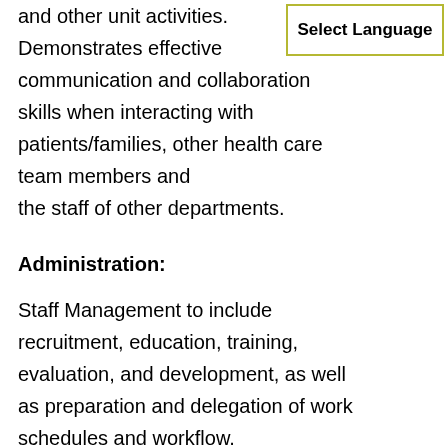and other unit activities. Demonstrates effective communication and collaboration skills when interacting with patients/families, other health care team members and the staff of other departments.
[Figure (other): Select Language button box with olive/yellow-green border]
Administration:
Staff Management to include recruitment, education, training, evaluation, and development, as well as preparation and delegation of work schedules and workflow. Maintains an open door communication policy for unit staff. Reviews, plans, manages and